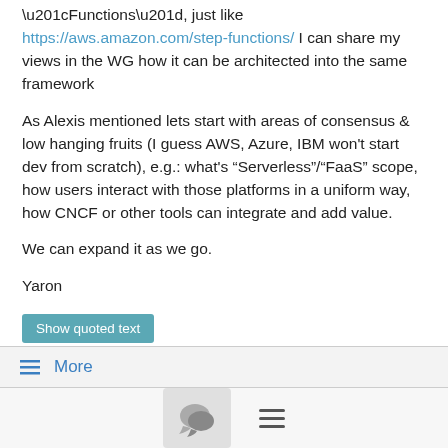“Functions”, just like https://aws.amazon.com/step-functions/ I can share my views in the WG how it can be architected into the same framework
As Alexis mentioned lets start with areas of consensus & low hanging fruits (I guess AWS, Azure, IBM won’t start dev from scratch), e.g.: what’s “Serverless”/“FaaS” scope, how users interact with those platforms in a uniform way, how CNCF or other tools can integrate and add value.
We can expand it as we go.
Yaron
Show quoted text
☰ More